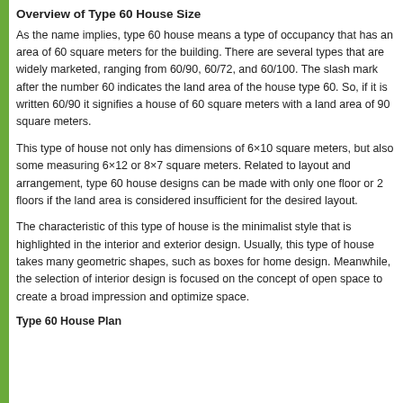Overview of Type 60 House Size
As the name implies, type 60 house means a type of occupancy that has an area of 60 square meters for the building. There are several types that are widely marketed, ranging from 60/90, 60/72, and 60/100. The slash mark after the number 60 indicates the land area of the house type 60. So, if it is written 60/90 it signifies a house of 60 square meters with a land area of 90 square meters.
This type of house not only has dimensions of 6×10 square meters, but also some measuring 6×12 or 8×7 square meters. Related to layout and arrangement, type 60 house designs can be made with only one floor or 2 floors if the land area is considered insufficient for the desired layout.
The characteristic of this type of house is the minimalist style that is highlighted in the interior and exterior design. Usually, this type of house takes many geometric shapes, such as boxes for home design. Meanwhile, the selection of interior design is focused on the concept of open space to create a broad impression and optimize space.
Type 60 House Plan